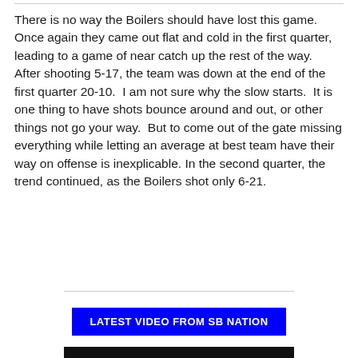There is no way the Boilers should have lost this game.  Once again they came out flat and cold in the first quarter, leading to a game of near catch up the rest of the way.  After shooting 5-17, the team was down at the end of the first quarter 20-10.  I am not sure why the slow starts.  It is one thing to have shots bounce around and out, or other things not go your way.  But to come out of the gate missing everything while letting an average at best team have their way on offense is inexplicable. In the second quarter, the trend continued, as the Boilers shot only 6-21.
LATEST VIDEO FROM SB NATION